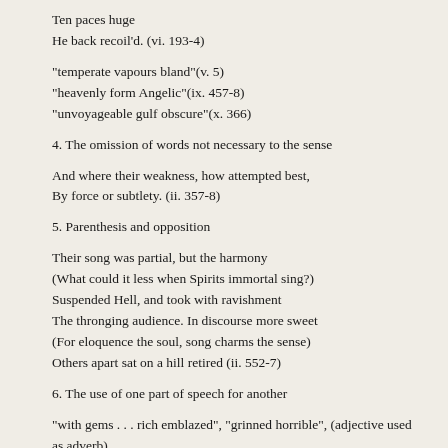Ten paces huge
He back recoil'd. (vi. 193-4)
"temperate vapours bland"(v. 5)
"heavenly form Angelic"(ix. 457-8)
"unvoyageable gulf obscure"(x. 366)
4. The omission of words not necessary to the sense
And where their weakness, how attempted best,
By force or subtlety. (ii. 357-8)
5. Parenthesis and opposition
Their song was partial, but the harmony
(What could it less when Spirits immortal sing?)
Suspended Hell, and took with ravishment
The thronging audience. In discourse more sweet
(For eloquence the soul, song charms the sense)
Others apart sat on a hill retired (ii. 552-7)
6. The use of one part of speech for another
"with gems . . . rich emblazed", "grinned horrible", (adjective used as adverb)
"Heaven's azure" or "the vast of Heaven". (adjective used as noun)
"without disturb they took alarm"; "the place of her retire." (verbs used as nouns )
May serve to better us and worse our foes (adjective used as verb)
Yet oft his heart, divine of something ill (verb, adjective employed in